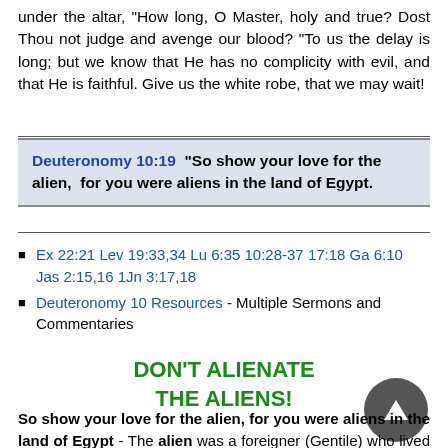under the altar, "How long, O Master, holy and true? Dost Thou not judge and avenge our blood? "To us the delay is long; but we know that He has no complicity with evil, and that He is faithful. Give us the white robe, that we may wait!
Deuteronomy 10:19  "So show your love for the alien,  for you were aliens in the land of Egypt.
Ex 22:21 Lev 19:33,34 Lu 6:35 10:28-37 17:18 Ga 6:10 Jas 2:15,16 1Jn 3:17,18
Deuteronomy 10 Resources - Multiple Sermons and Commentaries
DON'T ALIENATE THE ALIENS!
So show your love for the alien, for you were aliens in the land of Egypt - The alien was a foreigner (Gentile) who lived with